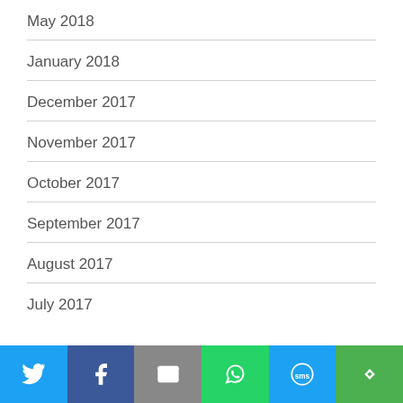May 2018
January 2018
December 2017
November 2017
October 2017
September 2017
August 2017
July 2017
[Figure (infographic): Social share bar with icons: Twitter (blue), Facebook (dark blue), Email (grey), WhatsApp (green), SMS (blue), More (green)]